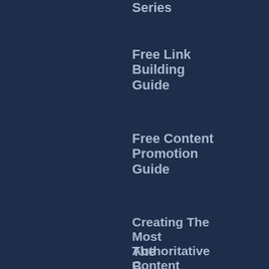Series
Free Link Building Guide
Free Content Promotion Guide
Creating The Most Authoritative Content
The